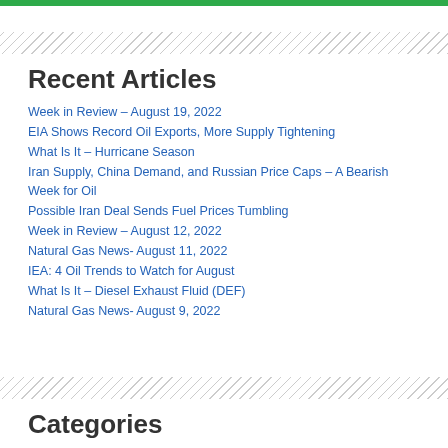Recent Articles
Week in Review – August 19, 2022
EIA Shows Record Oil Exports, More Supply Tightening
What Is It – Hurricane Season
Iran Supply, China Demand, and Russian Price Caps – A Bearish Week for Oil
Possible Iran Deal Sends Fuel Prices Tumbling
Week in Review – August 12, 2022
Natural Gas News- August 11, 2022
IEA: 4 Oil Trends to Watch for August
What Is It – Diesel Exhaust Fluid (DEF)
Natural Gas News- August 9, 2022
Categories